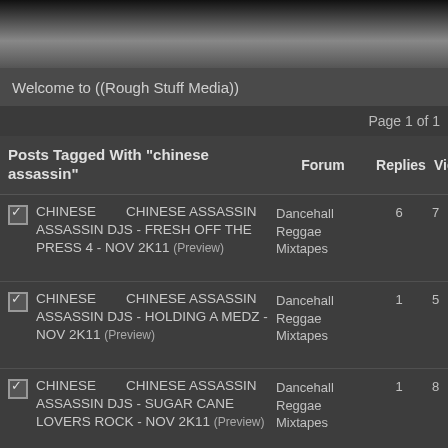Welcome to ((Rough Stuff Media))
Page 1 of 1
| Posts Tagged With "chinese assassin" | Forum | Replies | Vie |
| --- | --- | --- | --- |
| CHINESE ASSASSIN DJS - FRESH OFF THE PRESS 4 - NOV 2K11 (Preview) | Dancehall Reggae Mixtapes | 6 | 7 |
| CHINESE ASSASSIN DJS - HOLDING A MEDZ - NOV 2K11 (Preview) | Dancehall Reggae Mixtapes | 1 | 5 |
| CHINESE ASSASSIN DJS - SUGAR CANE LOVERS ROCK - NOV 2K11 (Preview) | Dancehall Reggae Mixtapes | 1 | 8 |
| CHINESE ASSASSIN DJS & IMEGA SOUND - RETRO RUDE BOY WINTER SWAG - NOV 2K11 (Preview) | Dancehall Reggae Mixtapes | 1 | 6 |
| CHINESE ASSASSIN DJ WAR | Dancehall | 0 | 1 |